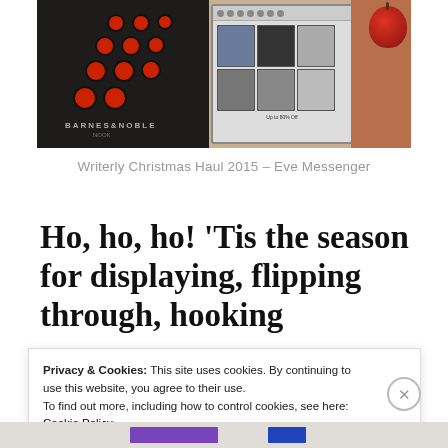[Figure (photo): Photo showing a Barnes & Noble Nook e-reader box (dark with red dot decorations and B&N logo), a Kindle/tablet device showing book covers, a red apple, and other items on a surface.]
Writerly Christmas Haul 2015 – Eve Messenger
Ho, ho, ho! 'Tis the season for displaying, flipping through, hooking
Privacy & Cookies: This site uses cookies. By continuing to use this website, you agree to their use.
To find out more, including how to control cookies, see here: Cookie Policy
Close and accept